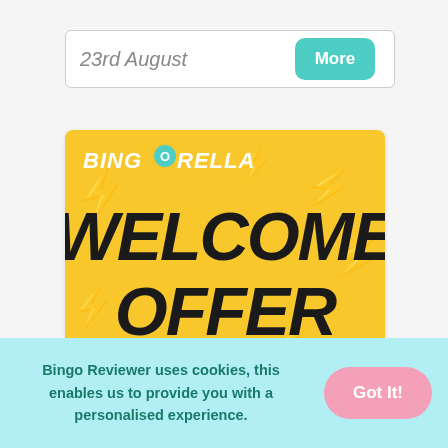23rd August
More
[Figure (illustration): Bingorella Welcome Offer promotional banner with yellow background, lightning bolt graphics, bold italic 'WELCOME OFFER' text, and Bingorella brand logo]
Promo Codes, Prize Draws and Mystery Prizes –...
Bingo Reviewer uses cookies, this enables us to provide you with a personalised experience.
Got It!